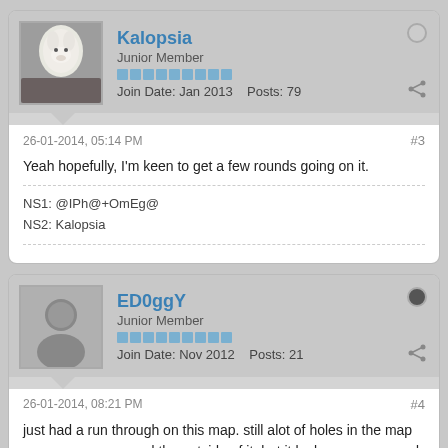Kalopsia
Junior Member
Join Date: Jan 2013   Posts: 79
26-01-2014, 05:14 PM
#3
Yeah hopefully, I'm keen to get a few rounds going on it.
NS1: @IPh@+OmEg@
NS2: Kalopsia
ED0ggY
Junior Member
Join Date: Nov 2012   Posts: 21
26-01-2014, 08:21 PM
#4
just had a run through on this map. still alot of holes in the map so you can run round the outside of it, but it looks awesome and promising